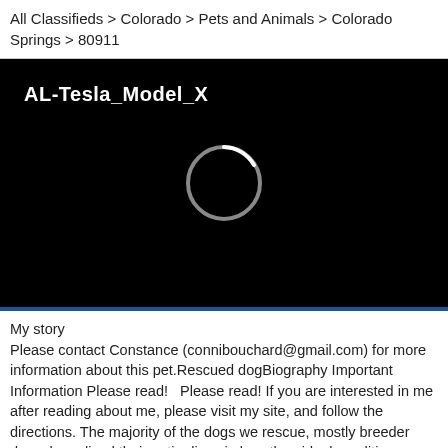All Classifieds > Colorado > Pets and Animals > Colorado Springs > 80911
[Figure (screenshot): Black video player background with title 'AL-Tesla_Model_X' in bold white text at top left, and a white circular loading spinner ring centered in the frame. A dark blue bar separates the video from the content below.]
My story
Please contact Constance (connibouchard@gmail.com) for more information about this pet.Rescued dogBiography Important Information Please read!   Please read! If you are interested in me after reading about me, please visit my site, and follow the directions. The majority of the dogs we rescue, mostly breeder dogs, have lived their entire lives in less than ideal conditions so will need to be socialized, house and leash trained. Most have never lived in a